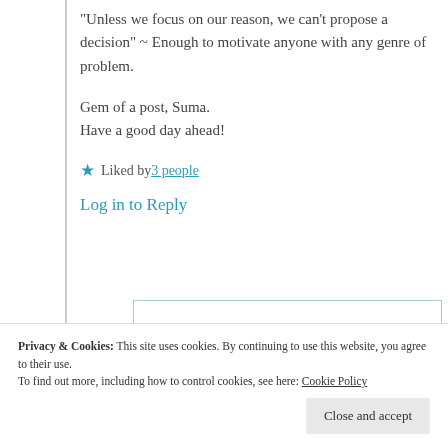“Unless we focus on our reason, we can’t propose a decision” ~ Enough to motivate anyone with any genre of problem.
Gem of a post, Suma.
Have a good day ahead!
Liked by 3 people
Log in to Reply
Privacy & Cookies: This site uses cookies. By continuing to use this website, you agree to their use. To find out more, including how to control cookies, see here: Cookie Policy
Close and accept